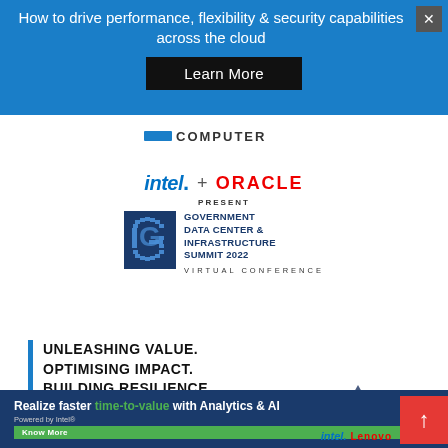How to drive performance, flexibility & security capabilities across the cloud
Learn More
[Figure (logo): GCN Computer logo]
[Figure (logo): intel. + ORACLE logos with PRESENT text]
[Figure (logo): Government Data Center & Infrastructure Summit 2022 logo with blue G emblem]
VIRTUAL CONFERENCE
UNLEASHING VALUE.
OPTIMISING IMPACT.
BUILDING RESILIENCE
Realize faster time-to-value with Analytics & AI
Powered by Intel®
Know More